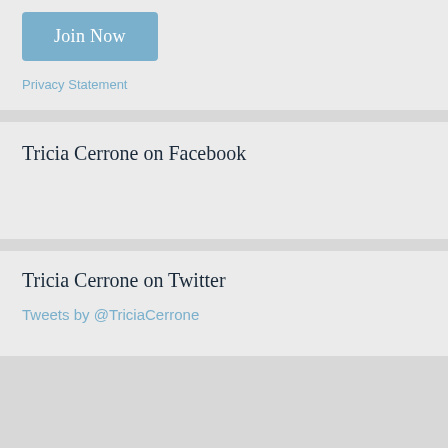Join Now
Privacy Statement
Tricia Cerrone on Facebook
Tricia Cerrone on Twitter
Tweets by @TriciaCerrone